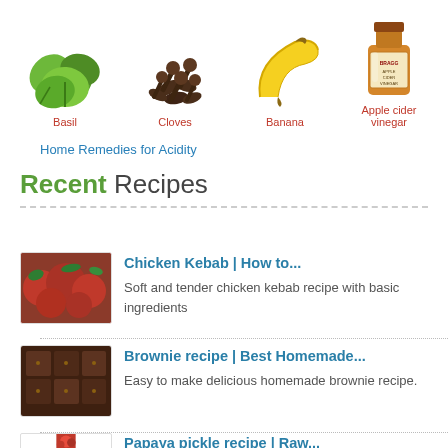[Figure (illustration): Four food ingredient images in a row: basil leaves, cloves, banana, apple cider vinegar bottle, each with a red label below]
Basil
Cloves
Banana
Apple cider vinegar
Home Remedies for Acidity
Recent Recipes
[Figure (photo): Chicken Kebab food photo]
Chicken Kebab | How to...
Soft and tender chicken kebab recipe with basic ingredients
[Figure (photo): Brownie recipe food photo]
Brownie recipe | Best Homemade...
Easy to make delicious homemade brownie recipe.
[Figure (photo): Papaya pickle recipe food photo]
Papaya pickle recipe | Raw...